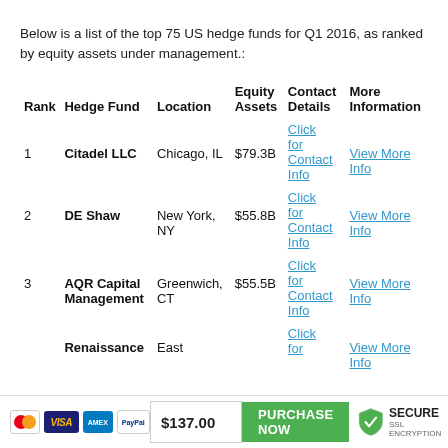Below is a list of the top 75 US hedge funds for Q1 2016, as ranked by equity assets under management.:
| Rank | Hedge Fund | Location | Equity Assets | Contact Details | More Information |
| --- | --- | --- | --- | --- | --- |
| 1 | Citadel LLC | Chicago, IL | $79.3B | Click for Contact Info | View More Info |
| 2 | DE Shaw | New York, NY | $55.8B | Click for Contact Info | View More Info |
| 3 | AQR Capital Management | Greenwich, CT | $55.5B | Click for Contact Info | View More Info |
| 4 | Renaissance | East ... | $52.6B | Click for | View More Info |